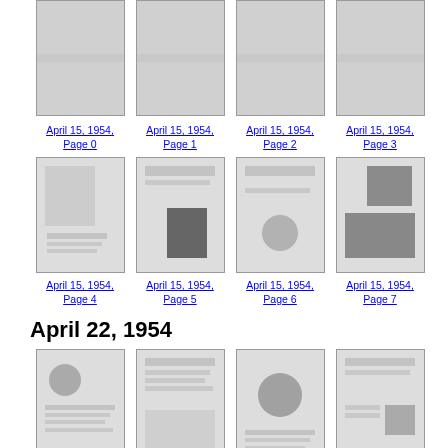[Figure (screenshot): Thumbnail images of April 15, 1954 newspaper pages 0-3 (top partial row)]
April 15, 1954, Page 0
April 15, 1954, Page 1
April 15, 1954, Page 2
April 15, 1954, Page 3
[Figure (screenshot): Thumbnail images of April 15, 1954 newspaper pages 4-7]
April 15, 1954, Page 4
April 15, 1954, Page 5
April 15, 1954, Page 6
April 15, 1954, Page 7
April 22, 1954
[Figure (screenshot): Thumbnail images of April 22, 1954 newspaper pages 0, 8, 7, 6]
April 22, 1954, Page 0
April 22, 1954, Page 8
April 22, 1954, Page 7
April 22, 1954, Page 6
[Figure (screenshot): Thumbnail images of April 22, 1954 newspaper pages (bottom partial row, captions cut off)]
April 22, 1954, ...
April 22, 1954, ...
April 22, 1954, ...
April 22, 1954, ...